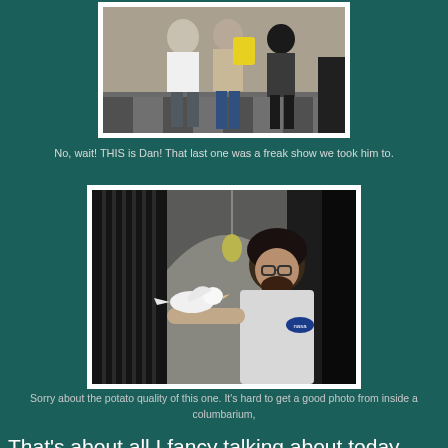[Figure (photo): A group of people standing outdoors, showing multiple figures including someone in a white t-shirt and shorts]
No, wait!  THIS is Dan!  That last one was a freak show we took him to.
[Figure (photo): A man wearing glasses and a NASA t-shirt holding a white dove/pigeon on his hand inside what appears to be a columbarium]
Sorry about the potato quality of this one.  It's hard to get a good photo from inside a columbarium,
That's about all I fancy talking about today.  Like I said, January's been a rough one for me.  But today's a new month and I'm hoping it'll be better.